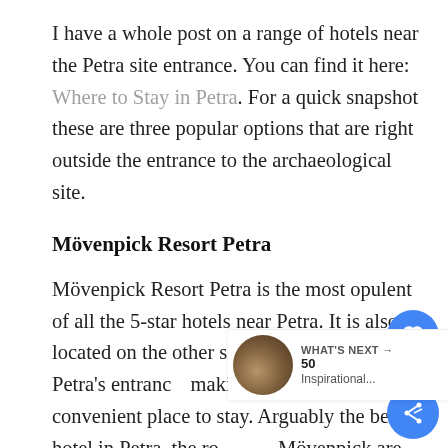I have a whole post on a range of hotels near the Petra site entrance. You can find it here: Where to Stay in Petra. For a quick snapshot these are three popular options that are right outside the entrance to the archaeological site.
Mövenpick Resort Petra
Mövenpick Resort Petra is the most opulent of all the 5-star hotels near Petra. It is also located on the other side of the street from Petra's entrance making it a perfectly convenient place to stay. Arguably the best hotel in Petra, the rooms at Mövenpick are exquisite; large and airy, and elegantly decorated. Thanks to the large windows,